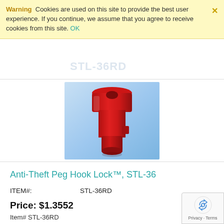Warning  Cookies are used on this site to provide the best user experience. If you continue, we assume that you agree to receive cookies from this site. OK
[Figure (photo): Red anti-theft peg hook lock against a light blue gradient background. The device is red plastic with a cylindrical body that widens at the top.]
Anti-Theft Peg Hook Lock™, STL-36
| ITEM#: | STL-36RD |
Price: $1.3552
Item# STL-36RD
Easy to Use Theft Deterrent System
Protected Valuable Merchandise From Shoplifters